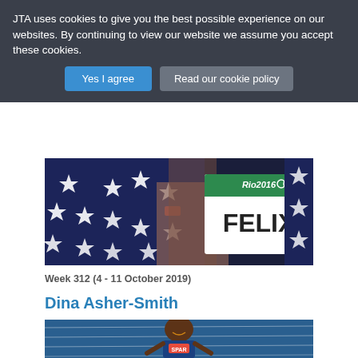JTA uses cookies to give you the best possible experience on our websites. By continuing to view our website we assume you accept these cookies.
[Figure (other): Two buttons: 'Yes I agree' (blue) and 'Read our cookie policy' (gray)]
[Figure (photo): Athlete Allyson Felix draped in American flag with Rio 2016 Olympics bib reading 'FELIX', close-up torso shot]
Week 312 (4 - 11 October 2019)
Dina Asher-Smith
[Figure (photo): Dina Asher-Smith smiling on blue athletics track, wearing SPAR logo competition kit]